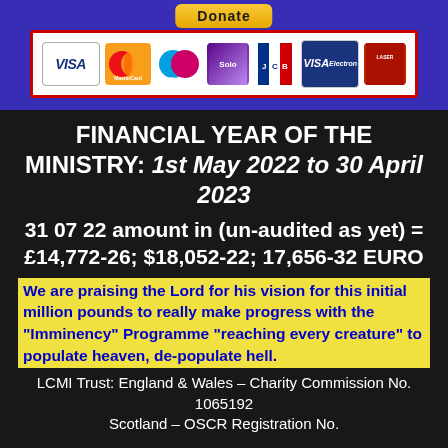[Figure (other): Donate button and payment card logos (VISA, MasterCard, Maestro, Solo, JCB, VISA Electron) in a red-bordered box on a purple banner]
FINANCIAL YEAR OF THE MINISTRY: 1st May 2022 to 30 April 2023
31 07 22 amount in (un-audited as yet) = £14,772-26; $18,052-22; 17,656-32 EURO
We are praising the Lord for his vision for this initial million pounds to really make progress with the "Imminency" Programme "reaching every creature" to populate heaven, de-populate hell.
LCMI Trust: England & Wales - Charity Commission No. 1065192
Scotland - OSCR Registration No.